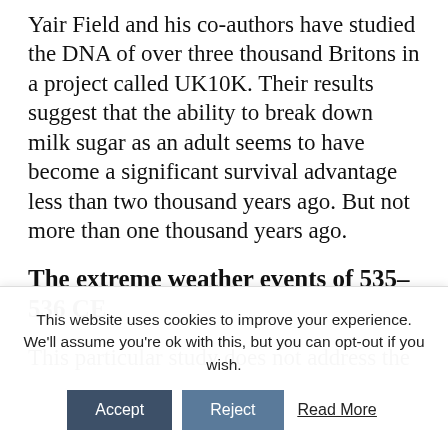Yair Field and his co-authors have studied the DNA of over three thousand Britons in a project called UK10K. Their results suggest that the ability to break down milk sugar as an adult seems to have become a significant survival advantage less than two thousand years ago. But not more than one thousand years ago.
The extreme weather events of 535–536 CE
This particular study does not address the
This website uses cookies to improve your experience. We'll assume you're ok with this, but you can opt-out if you wish.